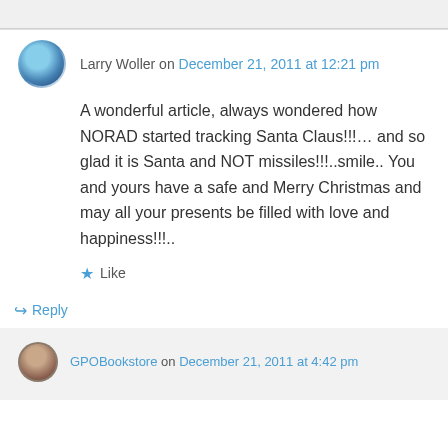Larry Woller on December 21, 2011 at 12:21 pm
A wonderful article, always wondered how NORAD started tracking Santa Claus!!!… and so glad it is Santa and NOT missiles!!!..smile.. You and yours have a safe and Merry Christmas and may all your presents be filled with love and happiness!!!..
Like
Reply
GPOBookstore on December 21, 2011 at 4:42 pm